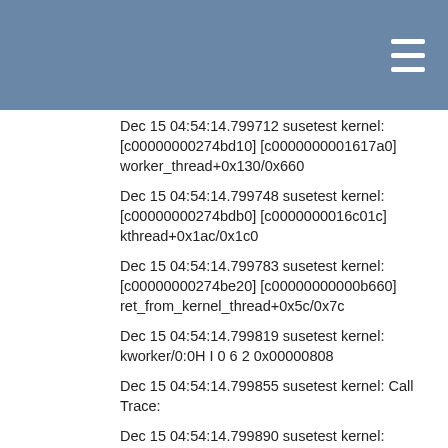Dec 15 04:54:14.799712 susetest kernel: [c00000000274bd10] [c0000000001617a0] worker_thread+0x130/0x660
Dec 15 04:54:14.799748 susetest kernel: [c00000000274bdb0] [c0000000016c01c] kthread+0x1ac/0x1c0
Dec 15 04:54:14.799783 susetest kernel: [c00000000274be20] [c00000000000b660] ret_from_kernel_thread+0x5c/0x7c
Dec 15 04:54:14.799819 susetest kernel: kworker/0:0H I 0 6 2 0x00000808
Dec 15 04:54:14.799855 susetest kernel: Call Trace:
Dec 15 04:54:14.799890 susetest kernel: [c0000000027579c0] [c000000002757a30] 0xc000000002757a30 (unreliable)
Dec 15 04:54:14.799926 susetest kernel: [c000000002757ba0] [c00000000002338c] switch_to+0x2ac/0x490